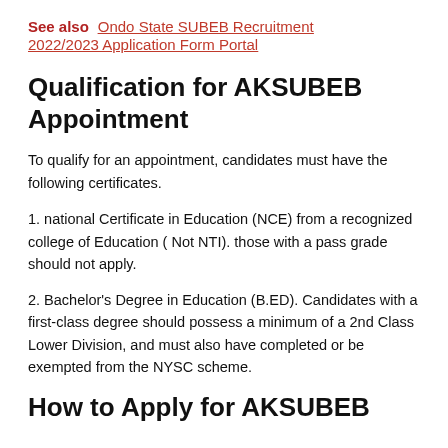See also  Ondo State SUBEB Recruitment 2022/2023 Application Form Portal
Qualification for AKSUBEB Appointment
To qualify for an appointment, candidates must have the following certificates.
1. national Certificate in Education (NCE) from a recognized college of Education ( Not NTI). those with a pass grade should not apply.
2. Bachelor's Degree in Education (B.ED). Candidates with a first-class degree should possess a minimum of a 2nd Class Lower Division, and must also have completed or be exempted from the NYSC scheme.
How to Apply for AKSUBEB